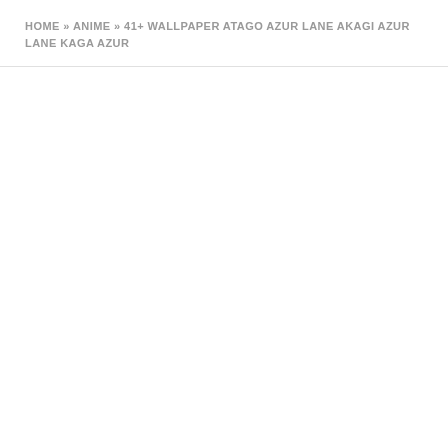HOME » ANIME » 41+ WALLPAPER ATAGO AZUR LANE AKAGI AZUR LANE KAGA AZUR